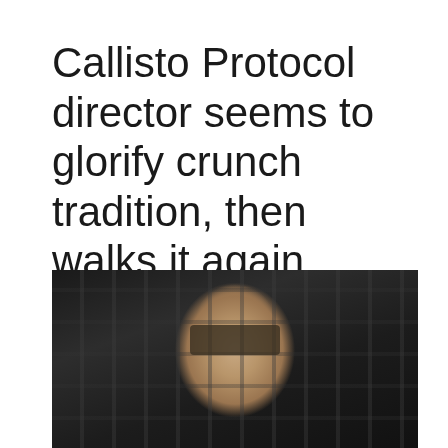Callisto Protocol director seems to glorify crunch tradition, then walks it again
[Figure (photo): A man with short dark hair wearing a dark shirt, photographed against a dark textured background resembling a brick wall. He appears to be speaking or being interviewed.]